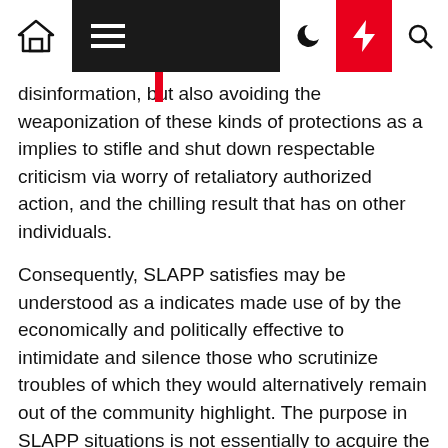[navigation bar with home, menu, dark mode, lightning/highlight, search icons]
disinformation, but also avoiding the weaponization of these kinds of protections as a implies to stifle and shut down respectable criticism via worry of retaliatory authorized action, and the chilling result that has on other individuals.
Consequently, SLAPP satisfies may be understood as a indicates made use of by the economically and politically effective to intimidate and silence those who scrutinize troubles of which they would alternatively remain out of the community highlight. The purpose in SLAPP situations is not essentially to acquire the circumstance as a outcome of a legal battle, but instead to issue the other get together to a extended demo course of action and to bring about financial and psychological hurt to the man or woman through abuse of the judicial approach. SLAPP fits are really successful since defending